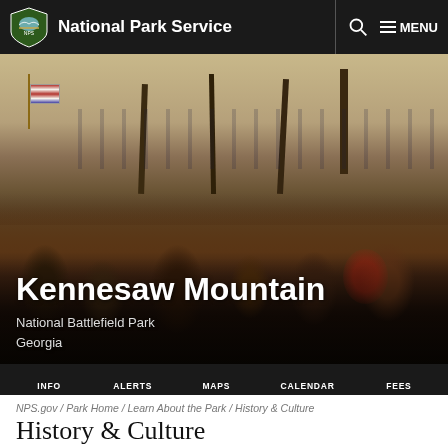National Park Service
[Figure (illustration): Painting depicting the Battle of Kennesaw Mountain — Civil War scene with soldiers carrying an American flag through trees on the left, troops advancing in the distance, and soldiers in trenches in the foreground.]
Kennesaw Mountain
National Battlefield Park
Georgia
INFO  ALERTS  MAPS  CALENDAR  FEES
NPS.gov / Park Home / Learn About the Park / History & Culture
History & Culture